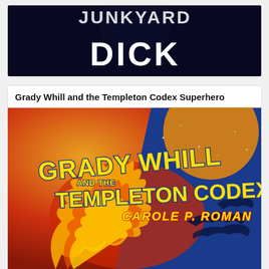[Figure (illustration): Dark book cover showing partial title text 'DICK' in large white bold letters on a black background with a dark figure silhouette]
Grady Whill and the Templeton Codex Superhero
[Figure (illustration): Colorful book cover for 'Grady Whill and the Templeton Codex' by Carole P. Roman, featuring bold yellow comic-style lettering on a blue/red/orange background with fire and dragon silhouettes]